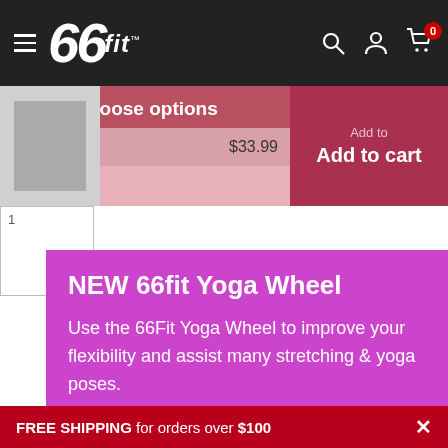66fit — navigation header with logo, hamburger menu, search, account, and cart icons
Choose options
Mueller Adj... $33.99
Add to
Add to cart
[Figure (screenshot): Thumbnail image box with number 1]
NEW 66fit Yoga Wheel
Use the 66Fit Yoga Wheel to improve your flexibility and assist many stretching & yoga poses.
Helps to open up the front part of your body and release
FREE SHIPPING for orders over $100